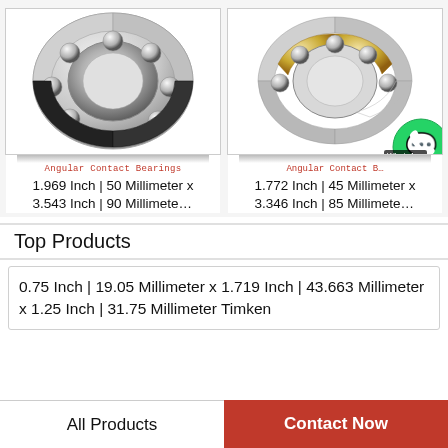[Figure (photo): Angular Contact Ball Bearing cutaway view showing steel balls and races]
Angular Contact Bearings
1.969 Inch | 50 Millimeter x 3.543 Inch | 90 Millimete...
[Figure (photo): Angular Contact Ball Bearing with brass cage cutaway view]
Angular Contact B...
1.772 Inch | 45 Millimeter x 3.346 Inch | 85 Millimete...
Top Products
0.75 Inch | 19.05 Millimeter x 1.719 Inch | 43.663 Millimeter x 1.25 Inch | 31.75 Millimeter Timken
All Products    Contact Now